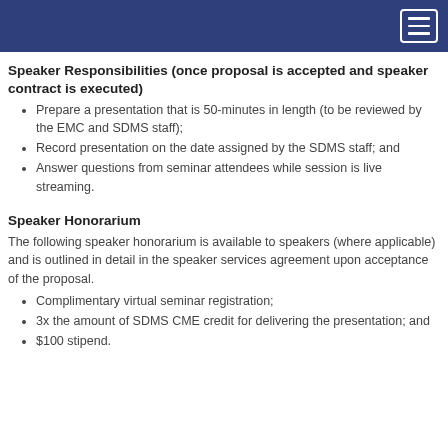Navigation bar with hamburger menu
Speaker Responsibilities (once proposal is accepted and speaker contract is executed)
Prepare a presentation that is 50-minutes in length (to be reviewed by the EMC and SDMS staff);
Record presentation on the date assigned by the SDMS staff; and
Answer questions from seminar attendees while session is live streaming.
Speaker Honorarium
The following speaker honorarium is available to speakers (where applicable) and is outlined in detail in the speaker services agreement upon acceptance of the proposal.
Complimentary virtual seminar registration;
3x the amount of SDMS CME credit for delivering the presentation; and
$100 stipend.